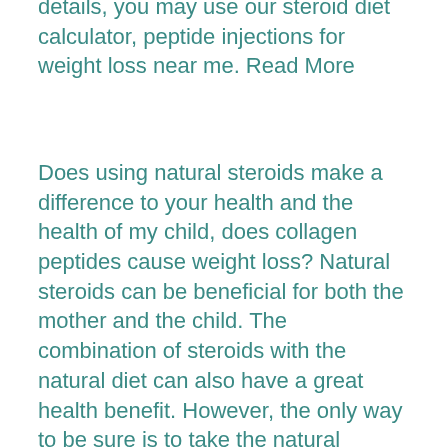details, you may use our steroid diet calculator, peptide injections for weight loss near me. Read More
Does using natural steroids make a difference to your health and the health of my child, does collagen peptides cause weight loss? Natural steroids can be beneficial for both the mother and the child. The combination of steroids with the natural diet can also have a great health benefit. However, the only way to be sure is to take the natural steroid test and if you find it suitable for you, winstrol tablets fat burner. Read More
Does a natural steroid really give you a faster weight loss process, sarms fat burner? There are always those who are against the benefits of steroids and who recommend them only for fast weight loss. Well, there are a few advantages to